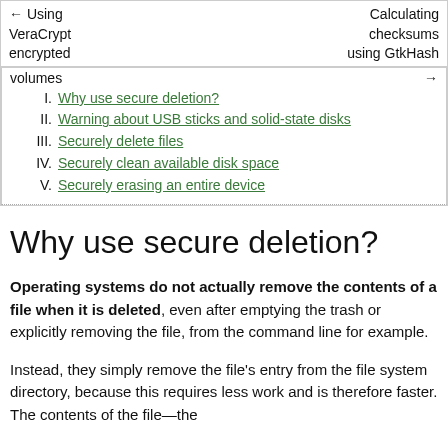← Using VeraCrypt encrypted volumes    Calculating checksums using GtkHash →
I. Why use secure deletion?
II. Warning about USB sticks and solid-state disks
III. Securely delete files
IV. Securely clean available disk space
V. Securely erasing an entire device
Why use secure deletion?
Operating systems do not actually remove the contents of a file when it is deleted, even after emptying the trash or explicitly removing the file, from the command line for example.
Instead, they simply remove the file's entry from the file system directory, because this requires less work and is therefore faster. The contents of the file—the